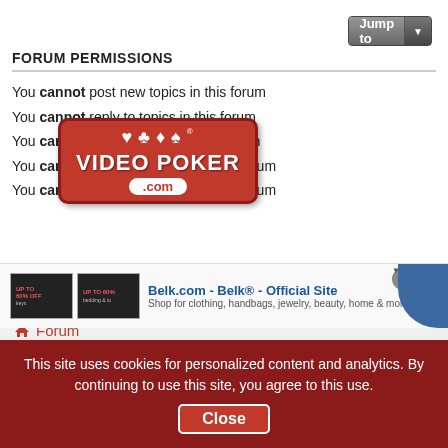FORUM PERMISSIONS
You cannot post new topics in this forum
You cannot reply to topics in this forum
You cannot edit your posts in this forum
You cannot delete your posts in this forum
You cannot post attachments in this forum
[Figure (logo): Video Poker .com logo with red background, card suits, and white text]
Forum
*** The opinions expressed on this forum are those of the authors and do not represent the official position of Action Gaming, Inc. ***
[Figure (screenshot): Advertisement for Belk.com - Belk Official Site, Shop for clothing, handbags, jewelry, beauty, home & more]
This site uses cookies for personalized content and analytics. By continuing to use this site, you agree to this use. Close